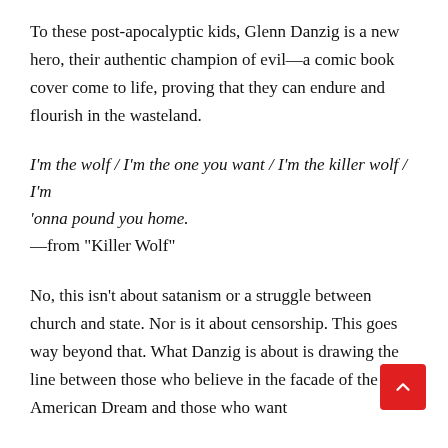To these post-apocalyptic kids, Glenn Danzig is a new hero, their authentic champion of evil—a comic book cover come to life, proving that they can endure and flourish in the wasteland.
I'm the wolf / I'm the one you want / I'm the killer wolf / I'm
'onna pound you home.
—from "Killer Wolf"
No, this isn't about satanism or a struggle between church and state. Nor is it about censorship. This goes way beyond that. What Danzig is about is drawing the line between those who believe in the facade of the American Dream and those who want